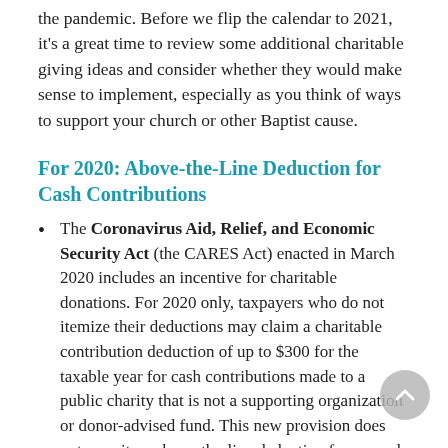the pandemic. Before we flip the calendar to 2021, it's a great time to review some additional charitable giving ideas and consider whether they would make sense to implement, especially as you think of ways to support your church or other Baptist cause.
For 2020: Above-the-Line Deduction for Cash Contributions
The Coronavirus Aid, Relief, and Economic Security Act (the CARES Act) enacted in March 2020 includes an incentive for charitable donations. For 2020 only, taxpayers who do not itemize their deductions may claim a charitable contribution deduction of up to $300 for the taxable year for cash contributions made to a public charity that is not a supporting organization or donor-advised fund. This new provision does not permit an above-the-line deduction for unused charitable contributions carried forward from a prior year.